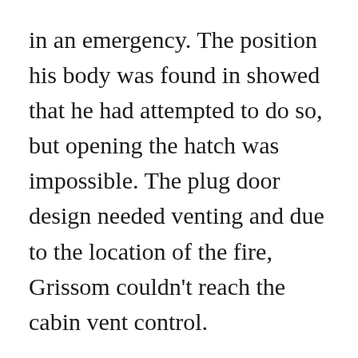in an emergency. The position his body was found in showed that he had attempted to do so, but opening the hatch was impossible. The plug door design needed venting and due to the location of the fire, Grissom couldn't reach the cabin vent control.
The cause of the fire was never determined, however many safety problems were addressed after the fire.